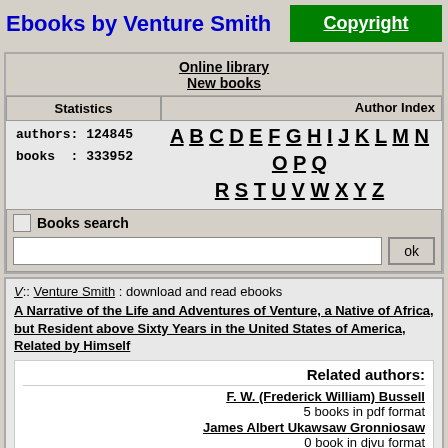Ebooks by Venture Smith
Copyright
Online library
New books
Statistics
authors: 124845
books : 333952
Author Index
A B C D E F G H I J K L M N O P Q
R S T U V W X Y Z
Books search
ok
V:: Venture Smith : download and read ebooks
A Narrative of the Life and Adventures of Venture, a Native of Africa, but Resident above Sixty Years in the United States of America, Related by Himself
Related authors:
F. W. (Frederick William) Bussell
5 books in pdf format
James Albert Ukawsaw Gronniosaw
0 book in djvu format
Josiah Henson
2 books in djvu format